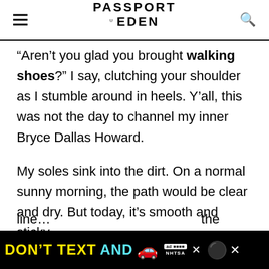PASSPORT TO EDEN
“Aren’t you glad you brought walking shoes?” I say, clutching your shoulder as I stumble around in heels. Y’all, this was not the day to channel my inner Bryce Dallas Howard.
My soles sink into the dirt. On a normal sunny morning, the path would be clear and dry. But today, it’s smooth and sticky.
We stroll through rows and rows of flowers. Each line… the
[Figure (screenshot): DON'T TEXT AND [car emoji] advertisement banner from NHTSA at the bottom of the page]